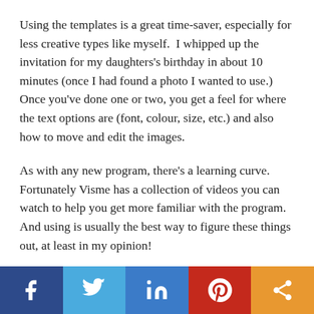Using the templates is a great time-saver, especially for less creative types like myself.  I whipped up the invitation for my daughters's birthday in about 10 minutes (once I had found a photo I wanted to use.) Once you've done one or two, you get a feel for where the text options are (font, colour, size, etc.) and also how to move and edit the images.
As with any new program, there's a learning curve. Fortunately Visme has a collection of videos you can watch to help you get more familiar with the program.  And using is usually the best way to figure these things out, at least in my opinion!
[Figure (infographic): Social sharing bar with five buttons: Facebook (dark blue), Twitter (light blue), LinkedIn (blue), Pinterest (red), Share (orange)]